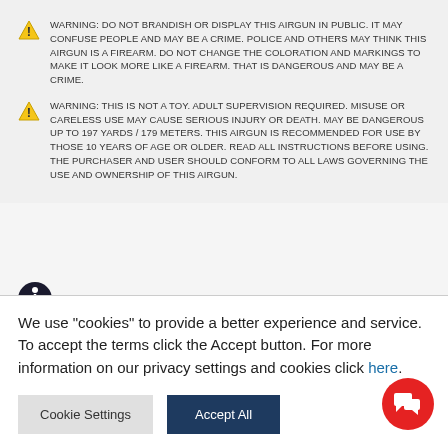WARNING: DO NOT BRANDISH OR DISPLAY THIS AIRGUN IN PUBLIC. IT MAY CONFUSE PEOPLE AND MAY BE A CRIME. POLICE AND OTHERS MAY THINK THIS AIRGUN IS A FIREARM. DO NOT CHANGE THE COLORATION AND MARKINGS TO MAKE IT LOOK MORE LIKE A FIREARM. THAT IS DANGEROUS AND MAY BE A CRIME.
WARNING: THIS IS NOT A TOY. ADULT SUPERVISION REQUIRED. MISUSE OR CARELESS USE MAY CAUSE SERIOUS INJURY OR DEATH. MAY BE DANGEROUS UP TO 197 YARDS / 179 METERS. THIS AIRGUN IS RECOMMENDED FOR USE BY THOSE 10 YEARS OF AGE OR OLDER. READ ALL INSTRUCTIONS BEFORE USING. THE PURCHASER AND USER SHOULD CONFORM TO ALL LAWS GOVERNING THE USE AND OWNERSHIP OF THIS AIRGUN.
This product can expose you to chemicals including lead, which is known to the
We use "cookies" to provide a better experience and service. To accept the terms click the Accept button. For more information on our privacy settings and cookies click here.